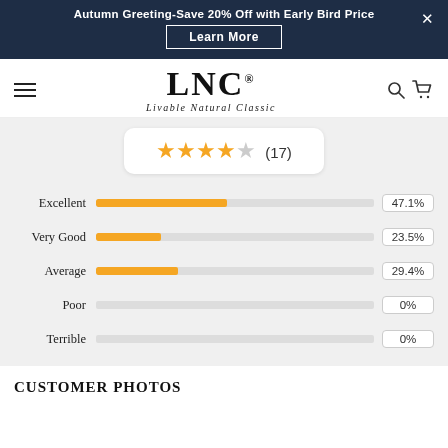Autumn Greeting-Save 20% Off with Early Bird Price — Learn More
[Figure (logo): LNC logo with tagline Livable Natural Classic]
[Figure (infographic): Star rating widget showing 4 out of 5 stars with 17 reviews]
[Figure (bar-chart): Rating breakdown]
CUSTOMER PHOTOS